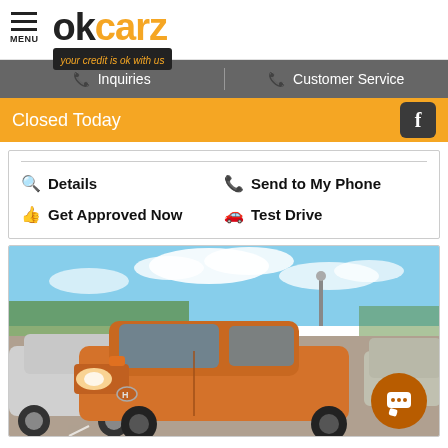MENU | okcarz - your credit is ok with us
Inquiries | Customer Service
Closed Today
Details | Send to My Phone | Get Approved Now | Test Drive
[Figure (photo): Orange Hyundai Accent hatchback in a car dealership lot, viewed from front-left angle. Blue sky with clouds in background. Other vehicles visible on sides.]